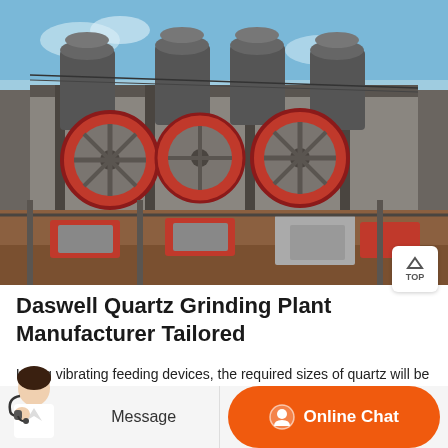[Figure (photo): Industrial quartz grinding plant facility with large red flywheel mechanisms, conveyor equipment, and multiple processing towers against a blue sky.]
Daswell Quartz Grinding Plant Manufacturer Tailored
Using vibrating feeding devices, the required sizes of quartz will be fed into the quartz grinding ball mill. In the ball mill for grinding quartz, the quartz will be ground to fine powder due to the impact of